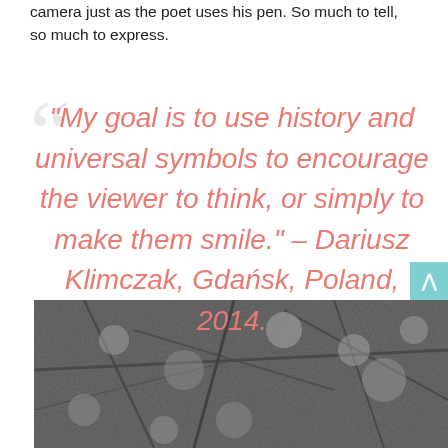camera just as the poet uses his pen. So much to tell, so much to express.
“My goal is to use history and universal symbols to encourage the viewer to think, or simply to make them smile.” – Dariusz Klimczak, Gdańsk, Poland, 2014.
[Figure (photo): Black and white photograph of tree branches with blossoms or foliage, creating a dense textural pattern.]